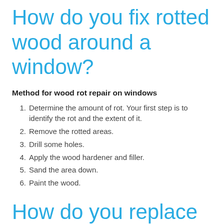How do you fix rotted wood around a window?
Method for wood rot repair on windows
Determine the amount of rot. Your first step is to identify the rot and the extent of it.
Remove the rotted areas.
Drill some holes.
Apply the wood hardener and filler.
Sand the area down.
Paint the wood.
How do you replace